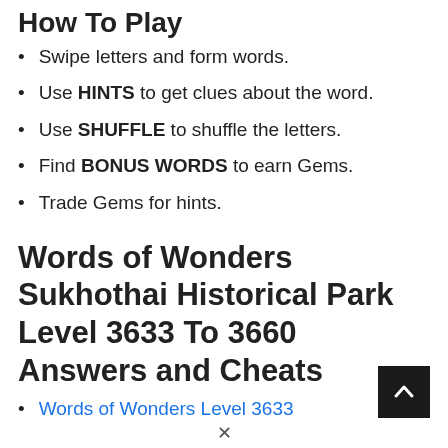How To Play
Swipe letters and form words.
Use HINTS to get clues about the word.
Use SHUFFLE to shuffle the letters.
Find BONUS WORDS to earn Gems.
Trade Gems for hints.
Words of Wonders Sukhothai Historical Park Level 3633 To 3660 Answers and Cheats
Words of Wonders Level 3633